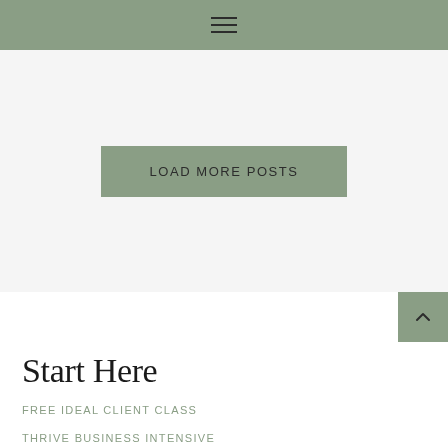Navigation menu bar with hamburger icon
LOAD MORE POSTS
[Figure (other): Scroll to top button with upward chevron arrow on sage green background]
Start Here
FREE IDEAL CLIENT CLASS
THRIVE BUSINESS INTENSIVE